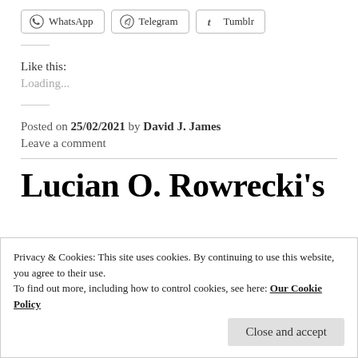[Figure (other): Social share buttons: WhatsApp, Telegram, Tumblr]
Like this:
Loading...
Posted on 25/02/2021 by David J. James
Leave a comment
Lucian O. Rowrecki's
Privacy & Cookies: This site uses cookies. By continuing to use this website, you agree to their use.
To find out more, including how to control cookies, see here: Our Cookie Policy
Close and accept